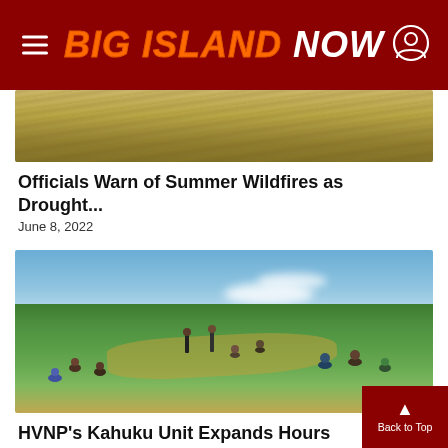Big Island Now
[Figure (photo): Dry grass field, drought conditions]
Officials Warn of Summer Wildfires as Drought...
June 8, 2022
[Figure (photo): People sitting on green hillside at HVNP Kahuku Unit with blue sky and clouds in background]
HVNP's Kahuku Unit Expands Hours
May 23, 2022